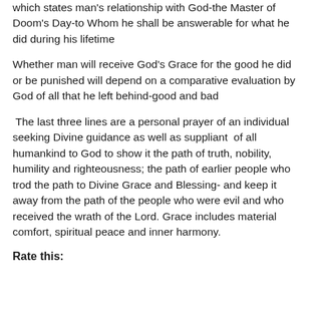which states man's relationship with God-the Master of Doom's Day-to Whom he shall be answerable for what he did during his lifetime
Whether man will receive God's Grace for the good he did or be punished will depend on a comparative evaluation by God of all that he left behind-good and bad
The last three lines are a personal prayer of an individual seeking Divine guidance as well as suppliant of all humankind to God to show it the path of truth, nobility, humility and righteousness; the path of earlier people who trod the path to Divine Grace and Blessing- and keep it away from the path of the people who were evil and who received the wrath of the Lord. Grace includes material comfort, spiritual peace and inner harmony.
Rate this: